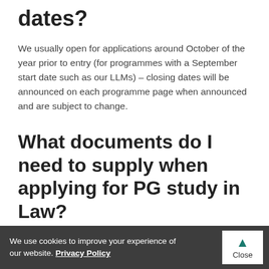dates?
We usually open for applications around October of the year prior to entry (for programmes with a September start date such as our LLMs) – closing dates will be announced on each programme page when announced and are subject to change.
What documents do I need to supply when applying for PG study in Law?
We use cookies to improve your experience of our website. Privacy Policy  Close